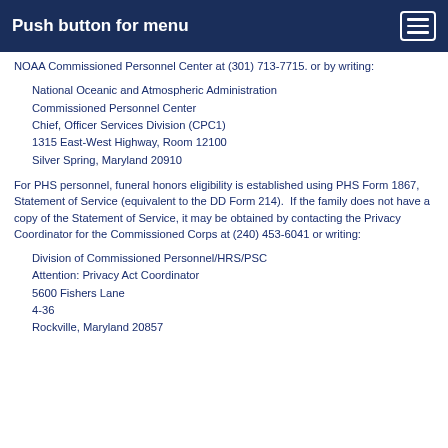Push button for menu
NOAA Commissioned Personnel Center at (301) 713-7715. or by writing:
National Oceanic and Atmospheric Administration
Commissioned Personnel Center
Chief, Officer Services Division (CPC1)
1315 East-West Highway, Room 12100
Silver Spring, Maryland 20910
For PHS personnel, funeral honors eligibility is established using PHS Form 1867, Statement of Service (equivalent to the DD Form 214).  If the family does not have a copy of the Statement of Service, it may be obtained by contacting the Privacy Coordinator for the Commissioned Corps at (240) 453-6041 or writing:
Division of Commissioned Personnel/HRS/PSC
Attention: Privacy Act Coordinator
5600 Fishers Lane
4-36
Rockville, Maryland 20857